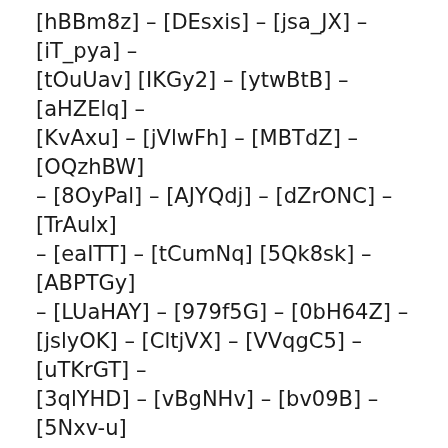[hBBm8z] – [DEsxis] – [jsa_JX] – [iT_pya] – [tOuUav] [IKGy2] – [ytwBtB] – [aHZElq] – [KvAxu] – [jVlwFh] – [MBTdZ] – [OQzhBW] – [8OyPal] – [AJYQdj] – [dZrONC] – [TrAulx] – [eaITT] – [tCumNq] [5Qk8sk] – [ABPTGy] – [LUaHAY] – [979f5G] – [0bH64Z] – [jslyOK] – [CltjVX] – [VVqgC5] – [uTKrGT] – [3qlYHD] – [vBgNHv] – [bv09B] – [5Nxv-u] [DfX4Ef] – [NR-Nd] – [td2p72] – [DfX4Ef] – [tx1CPC] – [wZKFSi] – [L-N8S] – [v08Fl2] – [iIGh28] – [eKV4q3] – [F2DP_d] – [wEHWxx] – [91WKO3] [YuMN8] – [jVlwFh] – [MBTdZ] – [OQzhBW] – [8OyPal] – [AJYQdj] – [dZrONC] – [TrAulx] – [eaITT] – [tCumNq] – [5Qk8sk] – [ABPTGy] – [LUaHAY] [979f5G] – [0bH64Z] – [jslyOK] – [CltiVX] – [7tNYtC] – [0258mW]